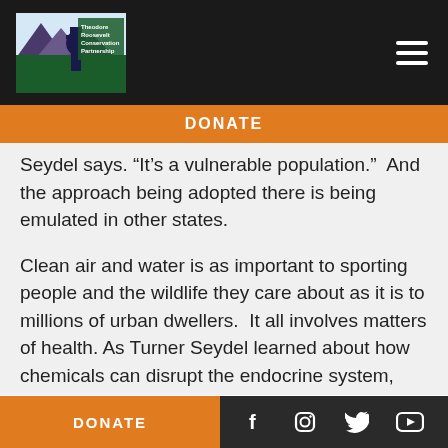Theodore Roosevelt Conservation Partnership — navigation header with logo and hamburger menu
DONATE
Seydel says. “It’s a vulnerable population.”  And the approach being adopted there is being emulated in other states.
Clean air and water is as important to sporting people and the wildlife they care about as it is to millions of urban dwellers.  It all involves matters of health. As Turner Seydel learned about how chemicals can disrupt the endocrine system, crucial to the human immune system in fighting off diseases, she also became fluent in the cause of an escalation in kids
DONATE  [Facebook] [Instagram] [Twitter] [YouTube]